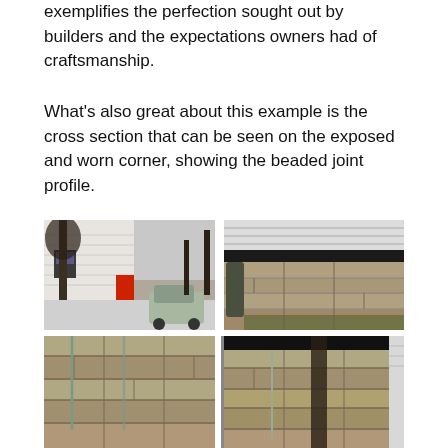exemplifies the perfection sought out by builders and the expectations owners had of craftsmanship.
What's also great about this example is the cross section that can be seen on the exposed and worn corner, showing the beaded joint profile.
[Figure (photo): Grid of six photographs showing exterior views of an old house with a red door and stone foundation walls with beaded mortar joints. Top left: house exterior with red door and car in snow. Top right: close-up of stone foundation corner. Middle left: stone wall close-up with metal pins. Middle right: stone wall corner detail. Bottom left and right: partially visible additional photos of stone masonry details.]